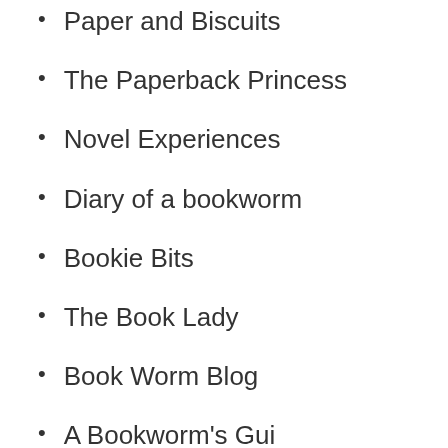Paper and Biscuits
The Paperback Princess
Novel Experiences
Diary of a bookworm
Bookie Bits
The Book Lady
Book Worm Blog
A Bookworm's Guide